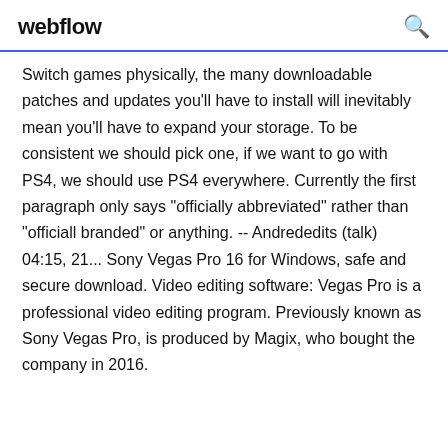webflow
Switch games physically, the many downloadable patches and updates you'll have to install will inevitably mean you'll have to expand your storage. To be consistent we should pick one, if we want to go with PS4, we should use PS4 everywhere. Currently the first paragraph only says "officially abbreviated" rather than "officiall branded" or anything. -- Andrededits (talk) 04:15, 21... Sony Vegas Pro 16 for Windows, safe and secure download. Video editing software: Vegas Pro is a professional video editing program. Previously known as Sony Vegas Pro, is produced by Magix, who bought the company in 2016.